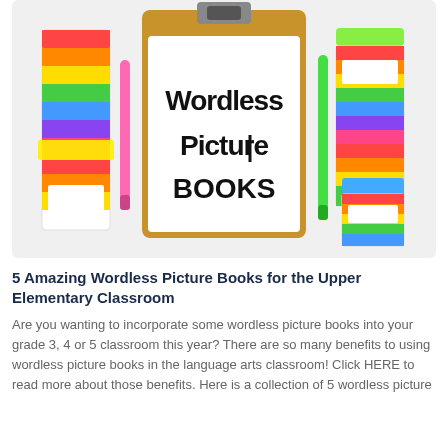[Figure (illustration): Colorful educational illustration showing a clipboard with 'Wordless Picture Books' written on it in a playful font, surrounded by rainbow-striped pencil holders and colorful markers on a light gray background.]
5 Amazing Wordless Picture Books for the Upper Elementary Classroom
Are you wanting to incorporate some wordless picture books into your grade 3, 4 or 5 classroom this year? There are so many benefits to using wordless picture books in the language arts classroom! Click HERE to read more about those benefits. Here is a collection of 5 wordless picture